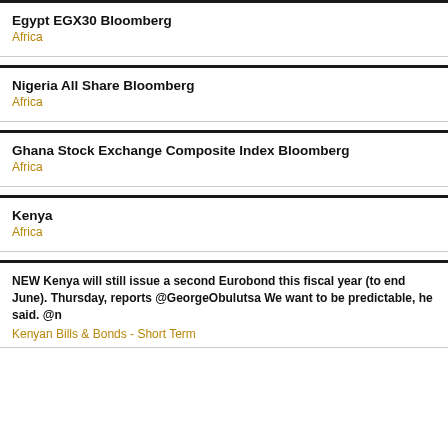Egypt EGX30 Bloomberg
Africa
Nigeria All Share Bloomberg
Africa
Ghana Stock Exchange Composite Index Bloomberg
Africa
Kenya
Africa
NEW Kenya will still issue a second Eurobond this fiscal year (to end June). Thursday, reports @GeorgeObulutsa We want to be predictable, he said. @n
Kenyan Bills & Bonds - Short Term